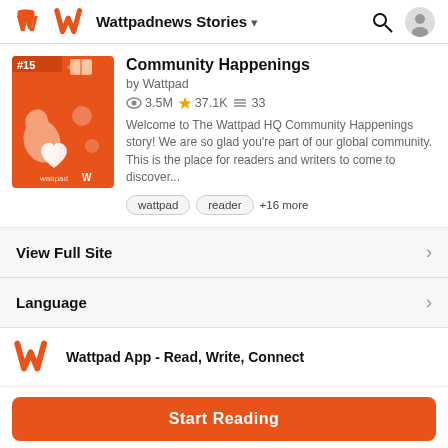Wattpadnews Stories
Community Happenings
by Wattpad
3.5M ★37.1K ≡33
Welcome to The Wattpad HQ Community Happenings story! We are so glad you're part of our global community. This is the place for readers and writers to come to discover...
wattpad
reader
+16 more
View Full Site
Language
Wattpad App - Read, Write, Connect
Start Reading
Log in with Browser